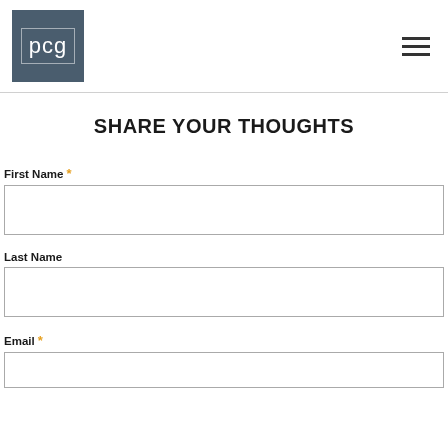pcg
SHARE YOUR THOUGHTS
First Name *
Last Name
Email *